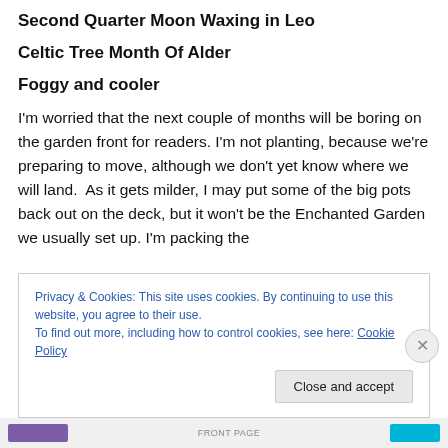Second Quarter Moon Waxing in Leo
Celtic Tree Month Of Alder
Foggy and cooler
I'm worried that the next couple of months will be boring on the garden front for readers. I'm not planting, because we're preparing to move, although we don't yet know where we will land.  As it gets milder, I may put some of the big pots back out on the deck, but it won't be the Enchanted Garden we usually set up. I'm packing the
Privacy & Cookies: This site uses cookies. By continuing to use this website, you agree to their use.
To find out more, including how to control cookies, see here: Cookie Policy
Close and accept